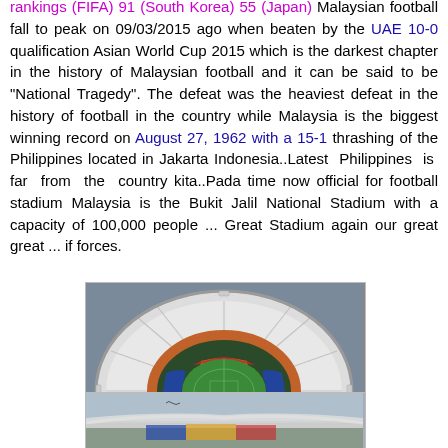rankings (FIFA) 91 (South Korea) 55 (Japan) Malaysian football fall to peak on 09/03/2015 ago when beaten by the UAE 10-0 qualification Asian World Cup 2015 which is the darkest chapter in the history of Malaysian football and it can be said to be "National Tragedy". The defeat was the heaviest defeat in the history of football in the country while Malaysia is the biggest winning record on August 27, 1962 with a 15-1 thrashing of the Philippines located in Jakarta Indonesia..Latest Philippines is far from the country kita..Pada time now official for football stadium Malaysia is the Bukit Jalil National Stadium with a capacity of 100,000 people ... Great Stadium again our great great ... if forces.
[Figure (photo): Aerial view of Bukit Jalil National Stadium showing the oval roof structure with colorful seating in blue, red, and yellow in the center field area surrounded by white structural canopy ribs.]
[Figure (photo): Ground-level or lower aerial view of a stadium exterior, partially visible at the bottom of the page.]